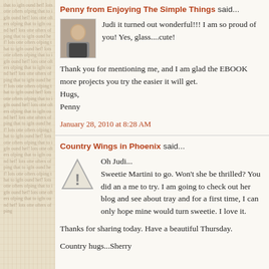Penny from Enjoying The Simple Things said...
[Figure (photo): Small avatar photo of a person]
Judi it turned out wonderful!!! I am so proud of you! Yes, glass....cute!
Thank you for mentioning me, and I am glad the EBOOK more projects you try the easier it will get.
Hugs,
Penny
January 28, 2010 at 8:28 AM
Country Wings in Phoenix said...
[Figure (illustration): Warning triangle icon with exclamation mark]
Oh Judi...
Sweetie Martini to go. Won't she be thrilled? You did an a me to try. I am going to check out her blog and see about tray and for a first time, I can only hope mine would turn sweetie. I love it.
Thanks for sharing today. Have a beautiful Thursday.
Country hugs...Sherry